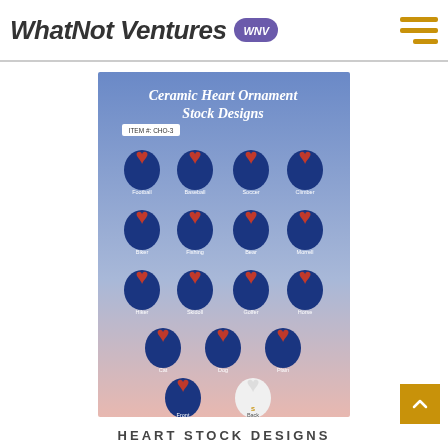WhatNot Ventures WNV
[Figure (photo): Product sheet showing Ceramic Heart Ornament Stock Designs with Colorado flag themed heart ornaments in various sports and activity designs: Football, Baseball, Soccer, Climber, Biker, Fishing, Bear, Morell, Hiker, Skidoll, Golfer, Horse, Cat, Dog, Plain, Front, Back. Item #: CHO-3]
HEART STOCK DESIGNS